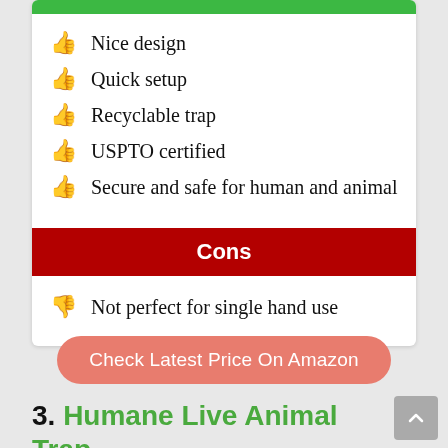Nice design
Quick setup
Recyclable trap
USPTO certified
Secure and safe for human and animal
Cons
Not perfect for single hand use
Check Latest Price On Amazon
3. Humane Live Animal Trap